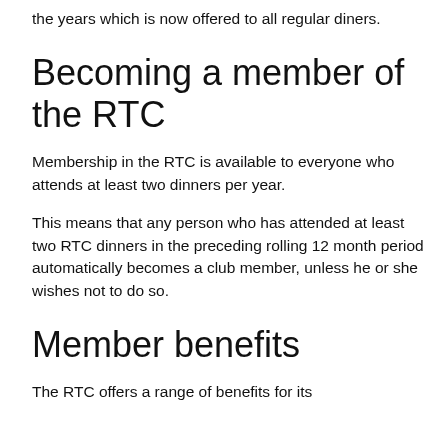the years which is now offered to all regular diners.
Becoming a member of the RTC
Membership in the RTC is available to everyone who attends at least two dinners per year.
This means that any person who has attended at least two RTC dinners in the preceding rolling 12 month period automatically becomes a club member, unless he or she wishes not to do so.
Member benefits
The RTC offers a range of benefits for its